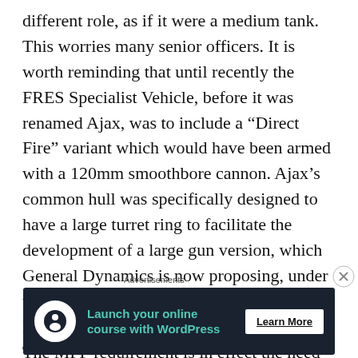different role, as if it were a medium tank. This worries many senior officers. It is worth reminding that until recently the FRES Specialist Vehicle, before it was renamed Ajax, was to include a “Direct Fire” variant which would have been armed with a 120mm smoothbore cannon. Ajax’s common hull was specifically designed to have a large turret ring to facilitate the development of a large gun version, which General Dynamics is now proposing, under the name “Griffin,” for the US Army Mobile Protected Firepower requirement. The MPF requirement is in effect the need for a Light to Medium tank,
Advertisements
[Figure (other): Advertisement banner with dark navy background, circular white icon with tree/person silhouette, teal text reading 'Launch your online course with WordPress', and a 'Learn More' button.]